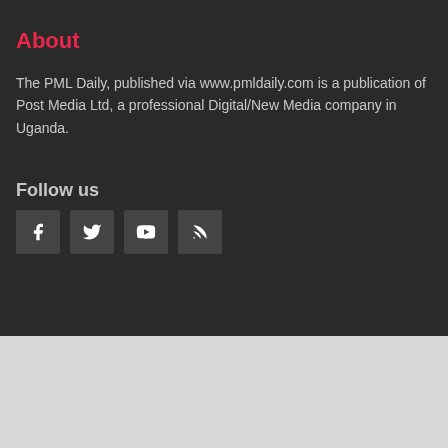About
The PML Daily, published via www.pmldaily.com is a publication of Post Media Ltd, a professional Digital/New Media company in Uganda.
Follow us
[Figure (infographic): Four social media icon buttons: Facebook, Twitter, YouTube, RSS feed]